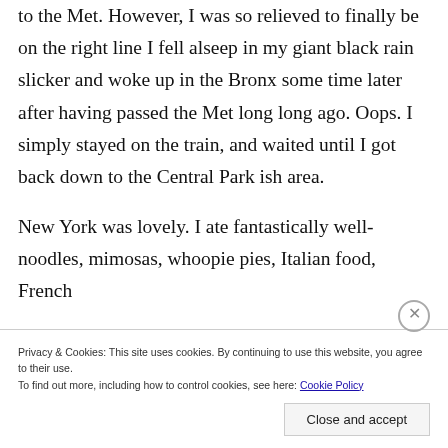to the Met. However, I was so relieved to finally be on the right line I fell alseep in my giant black rain slicker and woke up in the Bronx some time later after having passed the Met long long ago. Oops. I simply stayed on the train, and waited until I got back down to the Central Park ish area.
New York was lovely. I ate fantastically well- noodles, mimosas, whoopie pies, Italian food, French
Privacy & Cookies: This site uses cookies. By continuing to use this website, you agree to their use.
To find out more, including how to control cookies, see here: Cookie Policy